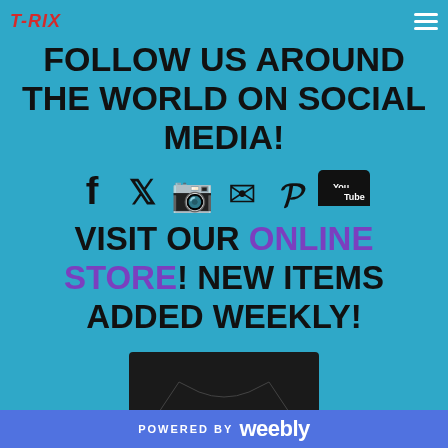T-RIX [hamburger menu]
FOLLOW US AROUND THE WORLD ON SOCIAL MEDIA!
[Figure (infographic): Row of social media icons: Facebook, Twitter, Instagram, Email, Pinterest, YouTube]
VISIT OUR ONLINE STORE! NEW ITEMS ADDED WEEKLY!
[Figure (photo): Black t-shirt with camera graphic and 'EXPLORE' text]
POWERED BY weebly